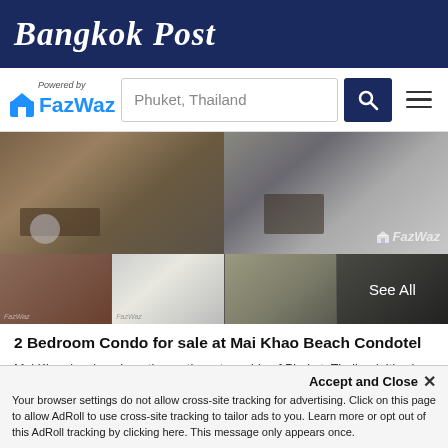Bangkok Post
[Figure (logo): FazWaz logo with 'Powered by' text and search bar with 'Phuket, Thailand' placeholder, search button, and hamburger menu]
[Figure (photo): Property listing photos for 2 Bedroom Condo at Mai Khao Beach Condotel - main large photo showing interior desk/living area, four thumbnail photos below with 'See All' overlay on the last thumbnail]
2 Bedroom Condo for sale at Mai Khao Beach Condotel
Mai Khao is a beach on the northwestern side of Phuket, Thailand. It's also known as Airport Beach or Sanambin Beach (the Thai word for "airport"), as it's very close to the airport. The northern po...
2  2  53 SqM  Condo
Accept and Close ✕
Your browser settings do not allow cross-site tracking for advertising. Click on this page to allow AdRoll to use cross-site tracking to tailor ads to you. Learn more or opt out of this AdRoll tracking by clicking here. This message only appears once.